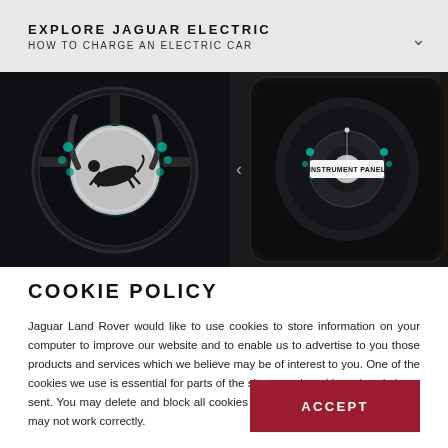EXPLORE JAGUAR ELECTRIC
HOW TO CHARGE AN ELECTRIC CAR
[Figure (photo): Jaguar car interior showing steering wheel with leaping cat badge and digital instrument panel. A tooltip reads 'INSTRUMENT PANEL'. The image shows a dark, high-tech cabin with multiple screens and controls.]
COOKIE POLICY
Jaguar Land Rover would like to use cookies to store information on your computer to improve our website and to enable us to advertise to you those products and services which we believe may be of interest to you. One of the cookies we use is essential for parts of the site to work and has already been sent. You may delete and block all cookies from this site but some elements may not work correctly.
ACCEPT